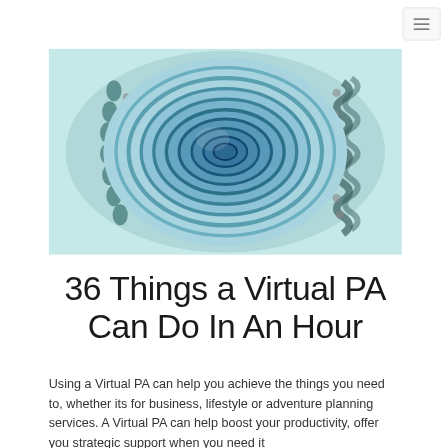[Figure (photo): Close-up photo of a blue ceramic bowl viewed from above, showing concentric circular rings and decorative patterns with teal and dark blue glazing]
36 Things a Virtual PA Can Do In An Hour
Using a Virtual PA can help you achieve the things you need to, whether its for business, lifestyle or adventure planning services. A Virtual PA can help boost your productivity, offer you strategic support when you need it